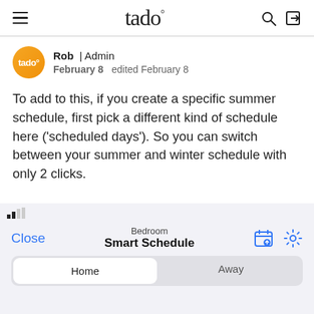tado°
Rob | Admin
February 8  edited February 8
To add to this, if you create a specific summer schedule, first pick a different kind of schedule here ('scheduled days'). So you can switch between your summer and winter schedule with only 2 clicks.
[Figure (screenshot): Mobile app screenshot showing Smart Schedule screen for Bedroom with Close button, calendar/settings icons, and Home/Away tab selector]